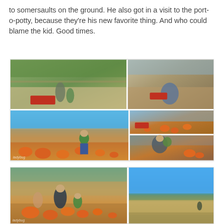to somersaults on the ground. He also got in a visit to the port-o-potty, because they're his new favorite thing. And who could blame the kid. Good times.
[Figure (photo): Collage of 5 photos showing a child and family at a pumpkin patch. Top-left: adults and child with red wagon on path. Top-right: adult crouching with child near red wagon. Bottom-left large: child in green vest standing in pumpkin field with rows of pumpkins and cornfield behind. Bottom-middle-right: people with red wagon and pumpkins. Bottom-right: adult holding baby/toddler near pumpkins.]
[Figure (photo): Collage of 2 photos. Left: family picking pumpkins in a field, woman in dark jacket, child in green vest, pumpkins on ground, cornfield background. Right: blue sky above cornfield/farm landscape with a figure in the distance.]